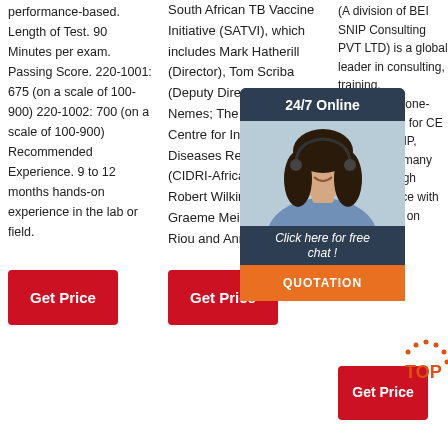performance-based. Length of Test. 90 Minutes per exam. Passing Score. 220-1001: 675 (on a scale of 100-900) 220-1002: 700 (on a scale of 100-900) Recommended Experience. 9 to 12 months hands-on experience in the lab or field.
[Figure (other): Red 'Get Price' button (column 1)]
South African TB Vaccine Initiative (SATVI), which includes Mark Hatherill (Director), Tom Scriba (Deputy Director) and Elisa Nemes; The Wellcome Centre for Infectious Diseases Research in Africa (CIDRI-Africa) which includes Robert Wilkinson (Director), Graeme Meintjes, Catherine Riou and Anna Coussens
[Figure (other): Red button at bottom of column 2]
(A division of BEI SNIP Consulting PVT LTD) is a global leader in consulting, training, certification, one-stop solution for CE marking, GMP, ROHS, and many more with high quality service with commitment on Customer satisfaction.
[Figure (other): 24/7 Online chat box with consultant photo and QUOTATION button]
[Figure (other): Red 'Get Price' button and TOP logo (column 3 bottom)]